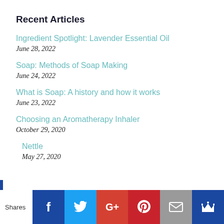Recent Articles
Ingredient Spotlight: Lavender Essential Oil
June 28, 2022
Soap: Methods of Soap Making
June 24, 2022
What is Soap: A history and how it works
June 23, 2022
Choosing an Aromatherapy Inhaler
October 29, 2020
Nettle
May 27, 2020
[Figure (infographic): Social sharing bar with icons for Facebook, Twitter, Google+, Pinterest, Email, and a crown icon. Labeled 'Shares'.]